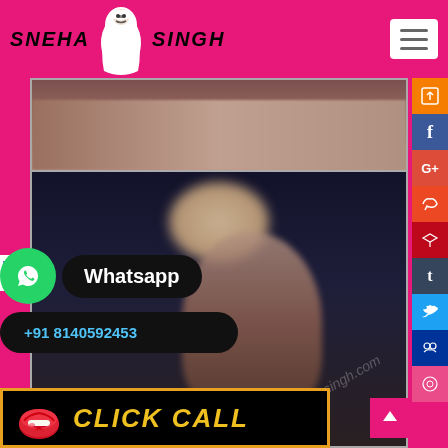SNEHA SINGH
[Figure (screenshot): Website screenshot showing escort/adult services page with logo 'SNEHA SINGH', social media sidebar icons, WhatsApp contact overlay, phone number +91 8140592453, and CLICK CALL button]
Whatsapp
+91 8140592453
CLICK CALL